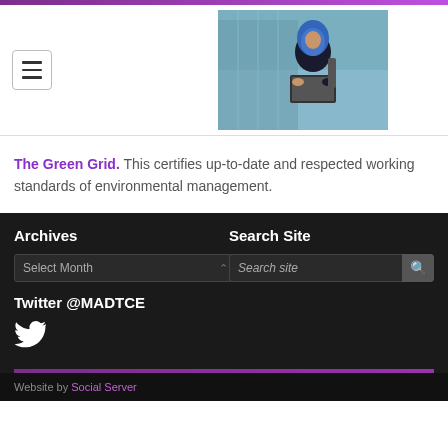[Figure (photo): Photo of a woman wearing a blue hijab and dark clothing, working on a laptop outdoors near a glass building]
The Green Grid. This certifies up-to-date and respected working standards of environmental management.
Archives
Search Site
Twitter @MADTCE
[Figure (logo): Twitter bird logo icon in white]
Website by Social Server